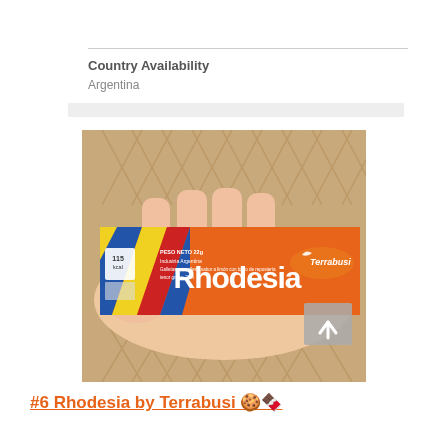Country Availability
Argentina
[Figure (photo): A hand holding a Rhodesia cookie/biscuit bar by Terrabusi. The packaging is orange with colorful geometric patterns and displays the brand name 'Rhodesia' in large white letters. The bar shows 115 kcal, peso neto 22g, Industria Argentina. Background shows a herringbone wood floor.]
#6 Rhodesia by Terrabusi 🍪🍫